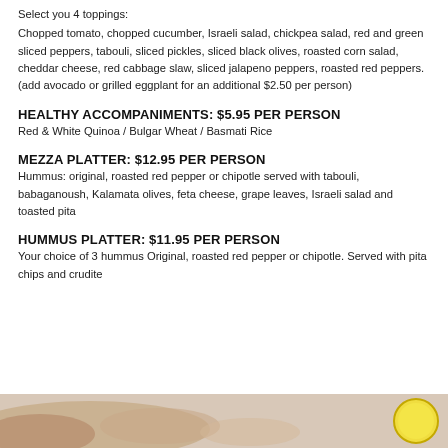Select you 4 toppings:
Chopped tomato, chopped cucumber, Israeli salad, chickpea salad, red and green sliced peppers, tabouli, sliced pickles, sliced black olives, roasted corn salad, cheddar cheese, red cabbage slaw, sliced jalapeno peppers, roasted red peppers. (add avocado or grilled eggplant for an additional $2.50 per person)
HEALTHY ACCOMPANIMENTS: $5.95 PER PERSON
Red & White Quinoa / Bulgar Wheat / Basmati Rice
MEZZA PLATTER: $12.95 PER PERSON
Hummus: original, roasted red pepper or chipotle served with tabouli, babaganoush, Kalamata olives, feta cheese, grape leaves, Israeli salad and toasted pita
HUMMUS PLATTER: $11.95 PER PERSON
Your choice of 3 hummus Original, roasted red pepper or chipotle. Served with pita chips and crudite
[Figure (photo): Photo strip at bottom showing food items including a yellow plate/bowl]